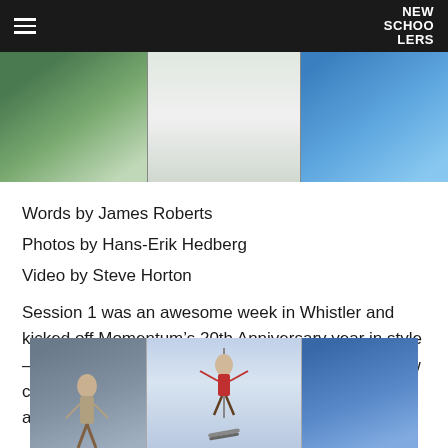NEW SCHOOLERS
[Figure (photo): Top banner photo showing skiing/snow action shots in three panels]
Words by James Roberts
Photos by Hans-Erik Hedberg
Video by Steve Horton
Session 1 was an awesome week in Whistler and kicked off Momentum&rsquo;s 20th Anniversary year in style &ndash; new features, inspiring coaches and amazing snow conditions ensured the first session of five was an absolute blast.
[Figure (photo): Bottom photo showing three panels of skiers performing aerial tricks against blue sky]